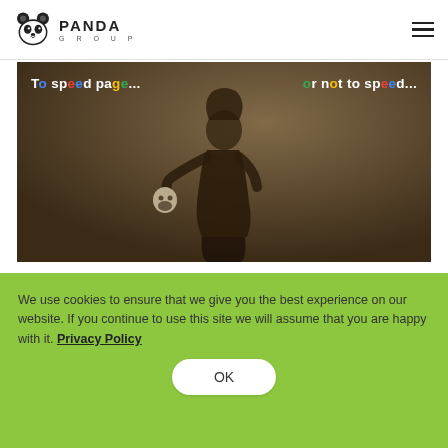Panda Group
[Figure (illustration): Sepia-toned vintage image of a Victorian-era figure holding a skull, with text overlay reading 'To speed page... or not to speed...' with Google-colored letters]
Nobody likes to wait for the website to load. Is it
We use cookies to ensure that we give you the best experience on our website. If you continue to use this site we will assume that you are happy with it. Privacy Policy